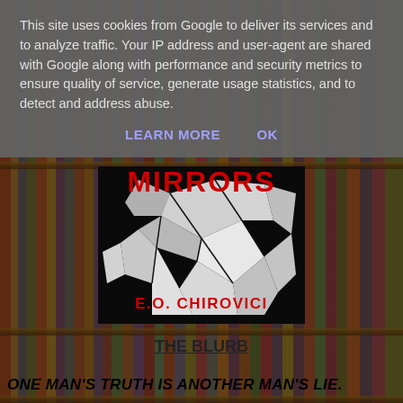This site uses cookies from Google to deliver its services and to analyze traffic. Your IP address and user-agent are shared with Google along with performance and security metrics to ensure quality of service, generate usage statistics, and to detect and address abuse.
LEARN MORE    OK
[Figure (illustration): Book cover for MIRRORS by E.O. Chirovici. Shows broken mirror shards in black and white with red title text MIRRORS at top and E.O. CHIROVICI in red at bottom.]
THE BLURB
ONE MAN'S TRUTH IS ANOTHER MAN'S LIE.